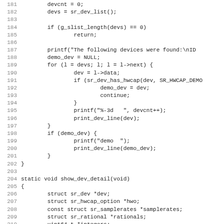Source code listing lines 181-212, showing C code for device listing and show_dev_detail function.